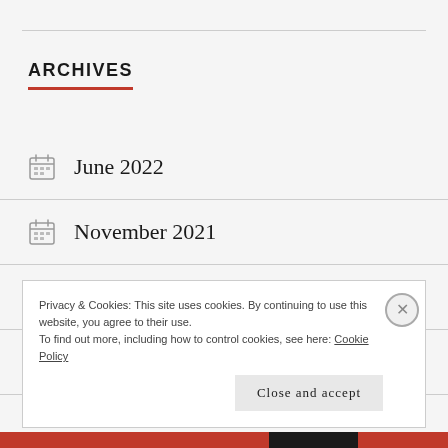ARCHIVES
June 2022
November 2021
April 2021
March 2021
Privacy & Cookies: This site uses cookies. By continuing to use this website, you agree to their use.
To find out more, including how to control cookies, see here: Cookie Policy
Close and accept